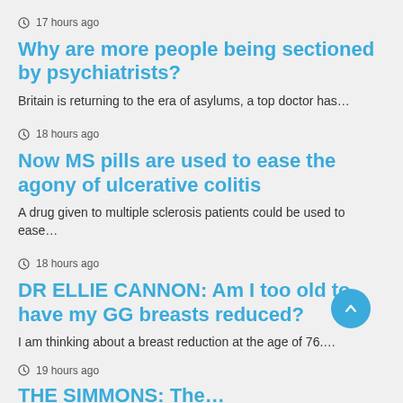17 hours ago
Why are more people being sectioned by psychiatrists?
Britain is returning to the era of asylums, a top doctor has…
18 hours ago
Now MS pills are used to ease the agony of ulcerative colitis
A drug given to multiple sclerosis patients could be used to ease…
18 hours ago
DR ELLIE CANNON: Am I too old to have my GG breasts reduced?
I am thinking about a breast reduction at the age of 76….
19 hours ago
THE SIMMONS: The…